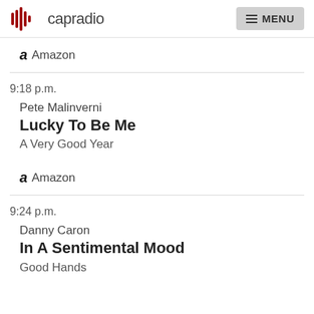capradio | MENU
a Amazon
9:18 p.m.
Pete Malinverni
Lucky To Be Me
A Very Good Year
a Amazon
9:24 p.m.
Danny Caron
In A Sentimental Mood
Good Hands